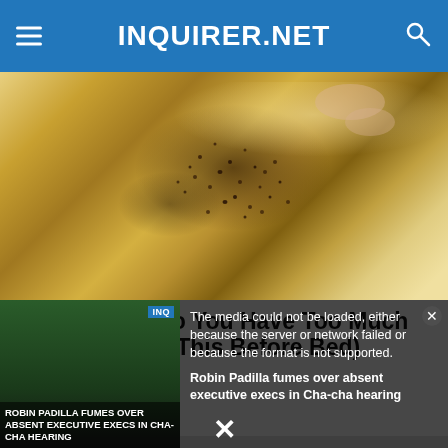INQUIRER.NET
[Figure (photo): Close-up photo of a translucent yellowish-amber sheet or substance being peeled, with dark specks/seeds embedded in it, resembling a food item or organic material]
Doctor Tells: Do You Have Too Much Belly Fat? (Eat This Before Bed)
[Figure (screenshot): Video overlay popup showing: error message 'The media could not be loaded, either because the server or network failed or because the format is not supported.' alongside a video thumbnail of a news segment titled 'Robin Padilla fumes over absent executive execs in Cha-cha hearing' with close button and dismiss X]
The media could not be loaded, either because the server or network failed or because the format is not supported.
Robin Padilla fumes over absent executive execs in Cha-cha hearing